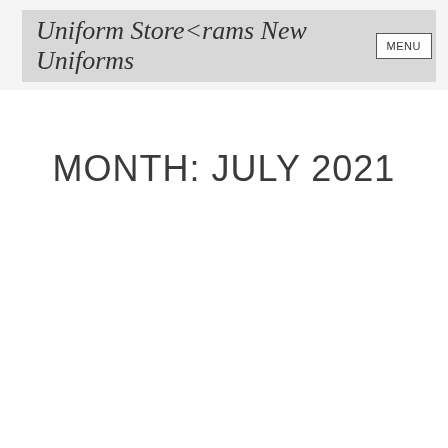Uniform Store<rams New Uniforms  MENU
MONTH: JULY 2021